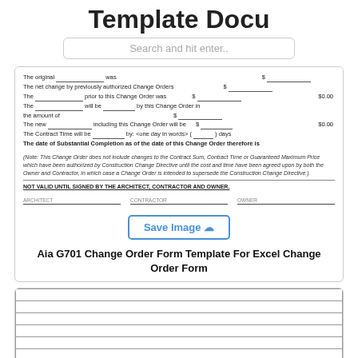Template Docu
Search and hit enter..
[Figure (screenshot): Partial view of AIA G701 Change Order form showing fields for original contract sum, net change by previously authorized Change Orders, prior amount, new amount including Change Order, Contract Time, Substantial Completion date, italicized note, NOT VALID UNTIL SIGNED statement, and signature lines. Includes a Save Image button with cloud icon.]
Aia G701 Change Order Form Template For Excel Change Order Form
[Figure (screenshot): Bottom portion showing the start of another Change Order form with a table of blank rows and a field 'The original contract sum was:' with a dollar sign and blank line.]